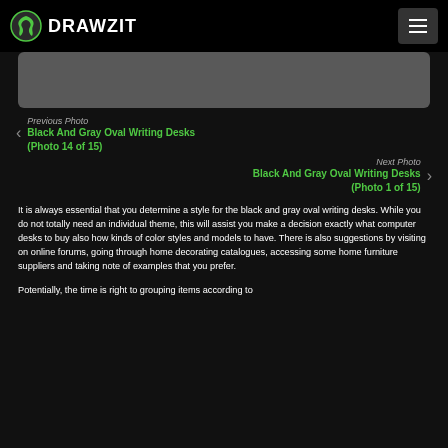DRAWZIT
[Figure (photo): Gray image placeholder area for black and gray oval writing desks photo]
Previous Photo
Black And Gray Oval Writing Desks (Photo 14 of 15)
Next Photo
Black And Gray Oval Writing Desks (Photo 1 of 15)
It is always essential that you determine a style for the black and gray oval writing desks. While you do not totally need an individual theme, this will assist you make a decision exactly what computer desks to buy also how kinds of color styles and models to have. There is also suggestions by visiting on online forums, going through home decorating catalogues, accessing some home furniture suppliers and taking note of examples that you prefer.
Potentially, the time is right to grouping items according to